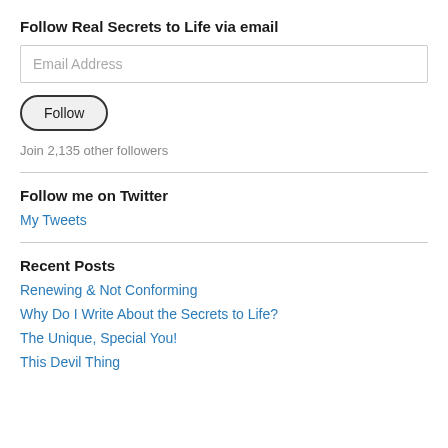Follow Real Secrets to Life via email
Email Address
Follow
Join 2,135 other followers
Follow me on Twitter
My Tweets
Recent Posts
Renewing & Not Conforming
Why Do I Write About the Secrets to Life?
The Unique, Special You!
This Devil Thing